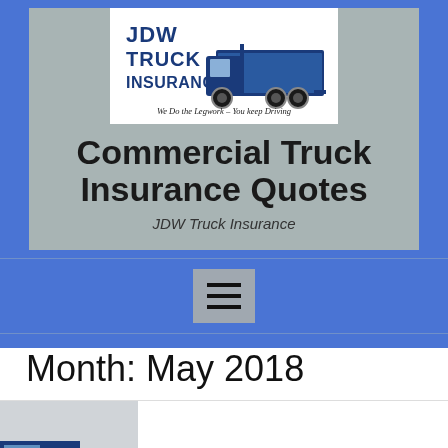[Figure (logo): JDW Truck Insurance logo with blue semi-truck silhouette and text 'JDW TRUCK INSURANCE' with tagline 'We Do the Legwork - You keep Driving']
Commercial Truck Insurance Quotes
JDW Truck Insurance
[Figure (other): Navigation hamburger menu button (three horizontal lines) on blue background]
Month: May 2018
[Figure (photo): Partial thumbnail image of a blue truck, partially visible at bottom left of page]